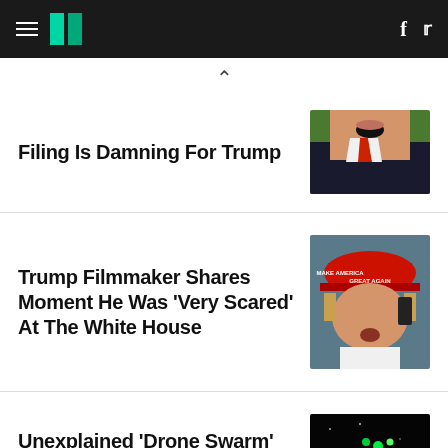HuffPost navigation with logo, Facebook and Twitter icons
^
Filing Is Damning For Trump
[Figure (photo): Man in suit with mouth open, shouting, wearing red tie against green background]
Trump Filmmaker Shares Moment He Was 'Very Scared' At The White House
[Figure (photo): Man wearing red MAKE AMERICA GREAT AGAIN hat talking on phone]
Unexplained 'Drone Swarm' Caught On Camera Over
[Figure (photo): Dark sky with drone lights visible, red arrow pointing to bright dots]